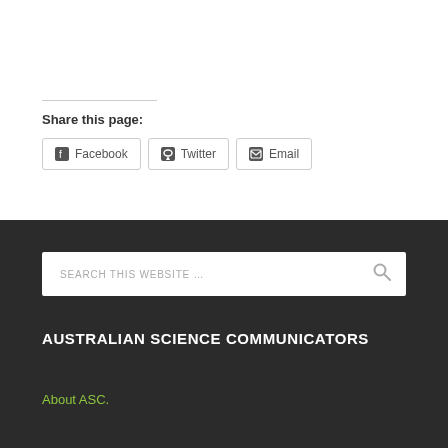Share this page:
Facebook  Twitter  Email
SEARCH THIS WEBSITE …
AUSTRALIAN SCIENCE COMMUNICATORS
About ASC.